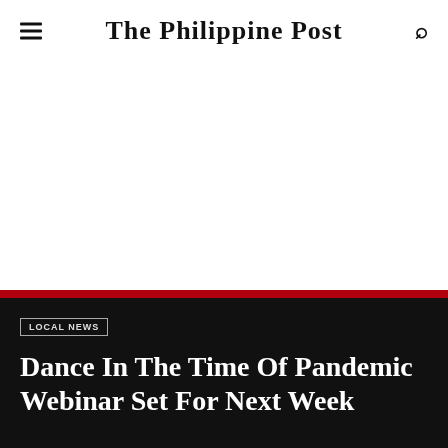The Philippine Post
[Figure (other): White advertisement area]
LOCAL NEWS
Dance In The Time Of Pandemic Webinar Set For Next Week